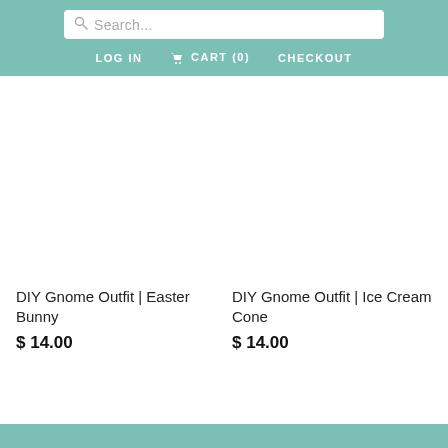Search... | LOG IN | CART (0) | CHECKOUT
[Figure (screenshot): Blank white product image placeholder for DIY Gnome Outfit - Easter Bunny]
DIY Gnome Outfit | Easter Bunny
$ 14.00
[Figure (screenshot): Blank white product image placeholder for DIY Gnome Outfit - Ice Cream Cone]
DIY Gnome Outfit | Ice Cream Cone
$ 14.00